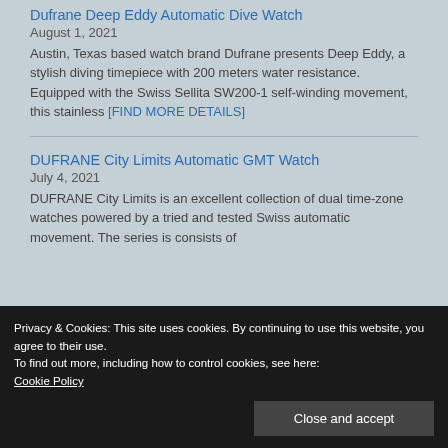Dufrane Deep Eddy Automatic Dive Watch
August 1, 2021
Austin, Texas based watch brand Dufrane presents Deep Eddy, a stylish diving timepiece with 200 meters water resistance. Equipped with the Swiss Sellita SW200-1 self-winding movement, this stainless [FIND MORE DETAILS]
DUFRANE City Limits Automatic GMT Watch
July 4, 2021
DUFRANE City Limits is an excellent collection of dual time-zone watches powered by a tried and tested Swiss automatic movement. The series is consists of
Privacy & Cookies: This site uses cookies. By continuing to use this website, you agree to their use.
To find out more, including how to control cookies, see here:
Cookie Policy